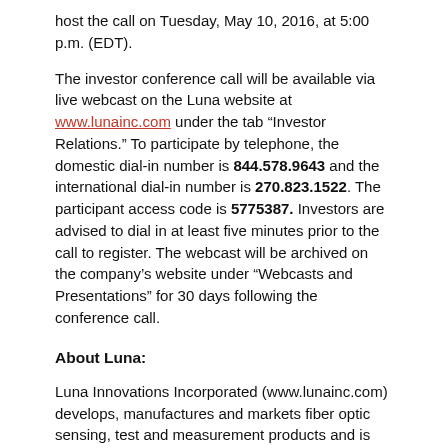host the call on Tuesday, May 10, 2016, at 5:00 p.m. (EDT).
The investor conference call will be available via live webcast on the Luna website at www.lunainc.com under the tab “Investor Relations.” To participate by telephone, the domestic dial-in number is 844.578.9643 and the international dial-in number is 270.823.1522. The participant access code is 5775387. Investors are advised to dial in at least five minutes prior to the call to register. The webcast will be archived on the company’s website under “Webcasts and Presentations” for 30 days following the conference call.
About Luna:
Luna Innovations Incorporated (www.lunainc.com) develops, manufactures and markets fiber optic sensing, test and measurement products and is focused on bringing new and innovative technology solutions to measure, monitor, protect and improve critical processes in the aerospace, automotive, energy, composite, telecommunications and defense industries. Following its merger with Advanced Photonix, Inc. (API), the